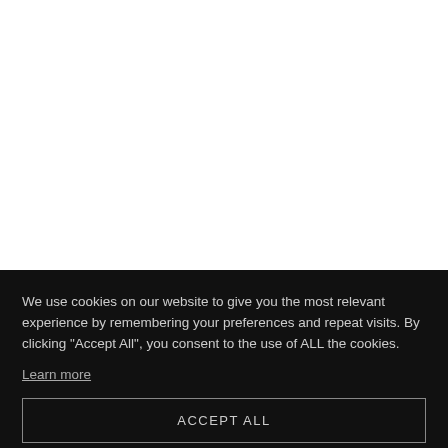[Figure (other): White background area — partially visible webpage content above the cookie consent banner]
We use cookies on our website to give you the most relevant experience by remembering your preferences and repeat visits. By clicking "Accept All", you consent to the use of ALL the cookies.
Learn more
ACCEPT ALL